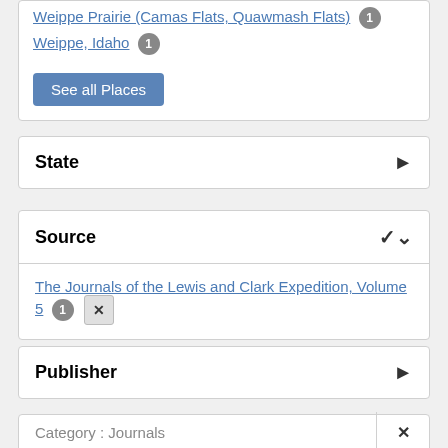Weippe Prairie (Camas Flats, Quawmash Flats) 1
Weippe, Idaho 1
See all Places
State
Source
The Journals of the Lewis and Clark Expedition, Volume 5 1 ×
Publisher
Category : Journals ×